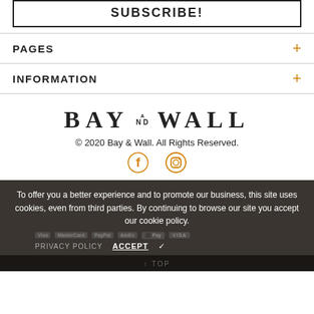SUBSCRIBE!
PAGES
INFORMATION
[Figure (logo): Bay and Wall logo text in large serif font]
© 2020 Bay & Wall. All Rights Reserved.
[Figure (illustration): Facebook and Instagram social icons in orange]
To offer you a better experience and to promote our business, this site uses cookies, even from third parties. By continuing to browse our site you accept our cookie policy.
PRIVACY POLICY   ACCEPT ✓
↑ TOP